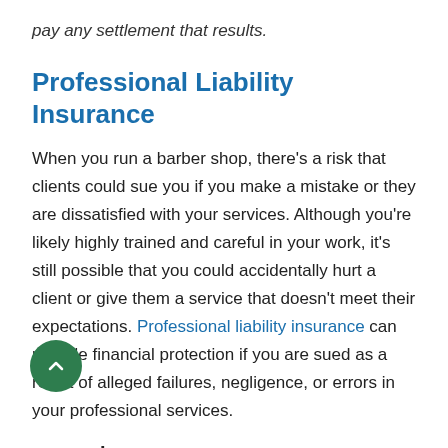pay any settlement that results.
Professional Liability Insurance
When you run a barber shop, there’s a risk that clients could sue you if you make a mistake or they are dissatisfied with your services. Although you’re likely highly trained and careful in your work, it’s still possible that you could accidentally hurt a client or give them a service that doesn’t meet their expectations. Professional liability insurance can provide financial protection if you are sued as a result of alleged failures, negligence, or errors in your professional services.
Example:
A number of clients who recently got their hair cut